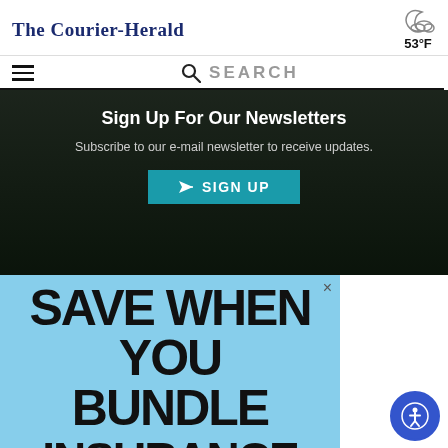The Courier-Herald
[Figure (illustration): Partly cloudy night weather icon with 53°F temperature]
[Figure (infographic): Hamburger menu icon and search bar with SEARCH label]
Sign Up For Our Newsletters
Subscribe to our e-mail newsletter to receive updates.
[Figure (other): Teal SIGN UP button with paper airplane icon]
[Figure (other): Advertisement banner on light blue background reading SAVE WHEN YOU BUNDLE INSURANCE]
[Figure (other): Accessibility button (blue circle with person icon) in bottom right corner]